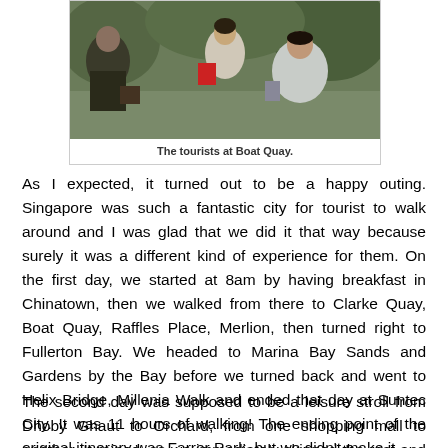[Figure (photo): Group of tourists posing at Boat Quay, Singapore. Several people are visible including women with long dark hair; one holds a red object. Green foliage in the background.]
The tourists at Boat Quay.
As I expected, it turned out to be a happy outing. Singapore was such a fantastic city for tourist to walk around and I was glad that we did it that way because surely it was a different kind of experience for them. On the first day, we started at 8am by having breakfast in Chinatown, then we walked from there to Clarke Quay, Boat Quay, Raffles Place, Merlion, then turned right to Fullerton Bay. We headed to Marina Bay Sands and Gardens by the Bay before we turned back and went to Helix Bridge, Millenia Walk and ended that day at Suntec City. It was 11 hours of walking! The ending point of the original itinerary was Farrer Park, but we didn't make it.
The second day was supposed to be a leisure stroll from Dhoby Ghaut to Orchard, from one shopping mall to another. It rained, so we immediately skipped the rest and went from